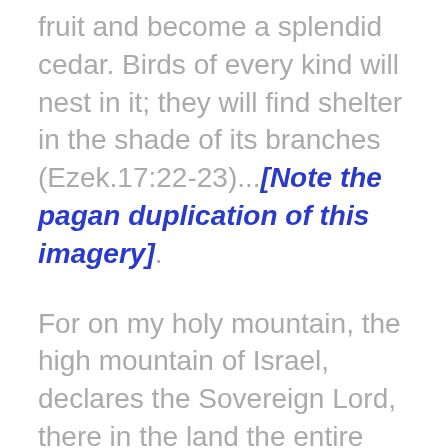fruit and become a splendid cedar. Birds of every kind will nest in it; they will find shelter in the shade of its branches (Ezek.17:22-23)...[Note the pagan duplication of this imagery].
For on my holy mountain, the high mountain of Israel, declares the Sovereign Lord, there in the land the entire house of Israel will serve me, and there I will accept them...And I will put my